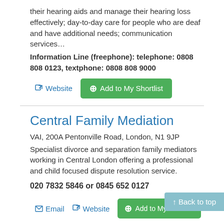their hearing aids and manage their hearing loss effectively; day-to-day care for people who are deaf and have additional needs; communication services…
Information Line (freephone): telephone: 0808 808 0123, textphone: 0808 808 9000
Website | Add to My Shortlist
Central Family Mediation
VAI, 200A Pentonville Road, London, N1 9JP
Specialist divorce and separation family mediators working in Central London offering a professional and child focused dispute resolution service.
020 7832 5846 or 0845 652 0127
Email | Website | Add to My Shortlist
Spare Tyre Theatre Comp…
(Including HotPots and Inc. Theatre Ensemb…